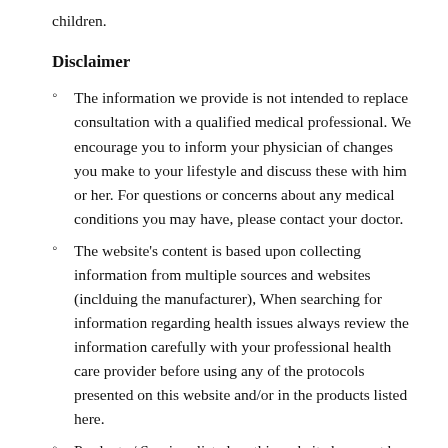children.
Disclaimer
The information we provide is not intended to replace consultation with a qualified medical professional. We encourage you to inform your physician of changes you make to your lifestyle and discuss these with him or her. For questions or concerns about any medical conditions you may have, please contact your doctor.
The website's content is based upon collecting information from multiple sources and websites (inclduing the manufacturer), When searching for information regarding health issues always review the information carefully with your professional health care provider before using any of the protocols presented on this website and/or in the products listed here.
Products / Services listed on this website have not been tested by the author or any individual who have